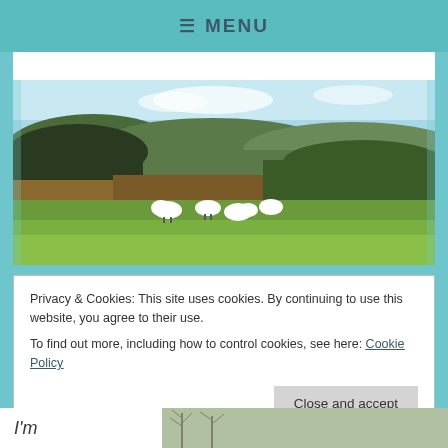≡ MENU
[Figure (photo): Countryside landscape with rolling green hills, conifer forests, and sheep grazing in a field under a blue sky.]
Privacy & Cookies: This site uses cookies. By continuing to use this website, you agree to their use.
To find out more, including how to control cookies, see here: Cookie Policy
Close and accept
I'm
[Figure (photo): Partial photo of bare winter trees visible in the bottom right corner.]